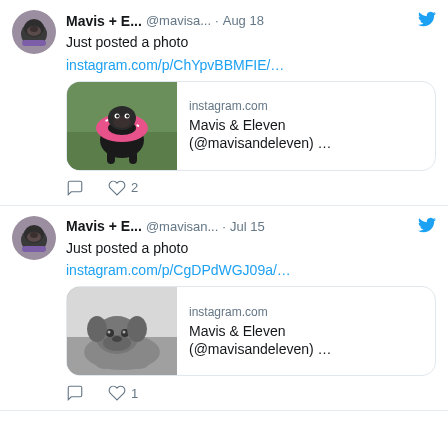[Figure (screenshot): Tweet from Mavis + E... @mavisa... · Aug 18 saying 'Just posted a photo' with instagram link and card showing pug dog with donut collar, 2 likes]
[Figure (screenshot): Tweet from Mavis + E... @mavisan... · Jul 15 saying 'Just posted a photo' with instagram link and card showing black and white pug photo, 1 like]